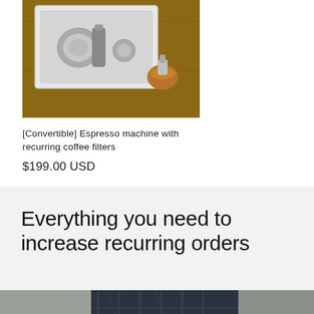[Figure (photo): Espresso machine with coffee accessories on a wooden surface, viewed from above, with a white tray and metallic components]
[Convertible] Espresso machine with recurring coffee filters
$199.00 USD
Everything you need to increase recurring orders
[Figure (photo): Person wearing a dark plaid shirt, partially visible, working at a table]